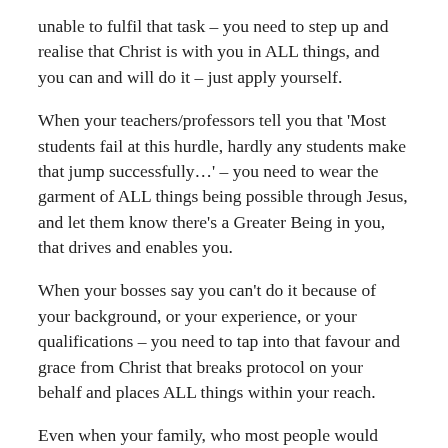unable to fulfil that task – you need to step up and realise that Christ is with you in ALL things, and you can and will do it – just apply yourself.
When your teachers/professors tell you that 'Most students fail at this hurdle, hardly any students make that jump successfully…' – you need to wear the garment of ALL things being possible through Jesus, and let them know there's a Greater Being in you, that drives and enables you.
When your bosses say you can't do it because of your background, or your experience, or your qualifications – you need to tap into that favour and grace from Christ that breaks protocol on your behalf and places ALL things within your reach.
Even when your family, who most people would argue are the ones who know you best – yes friend, even